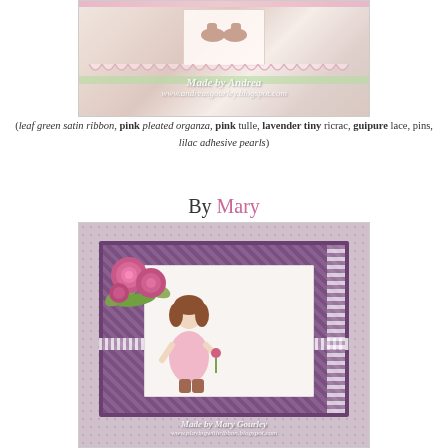[Figure (photo): Handmade greeting card by Andrea with pink and cream tones, showing small shoes or boots on white panel, decorated with lace, ribbon, and pink embellishments on a dotted background. Watermark reads 'Made by Andrea / www.andreasgourley.blogspot.com']
(leaf green satin ribbon, pink pleated organza, pink tulle, lavender tiny ricrac, guipure lace, pins, lilac adhesive pearls)
By Mary
[Figure (photo): Handmade greeting card by Mary Gourley with purple/mauve tones, featuring a Tilda doll stamp image of a girl in pink dress holding a flower, decorated with large pink roses, green leaves, purple patterned papers, lace strips, and ribbon. Watermark reads 'Made by Mary Gourley / www.playingwithribbon.blogspot.com']